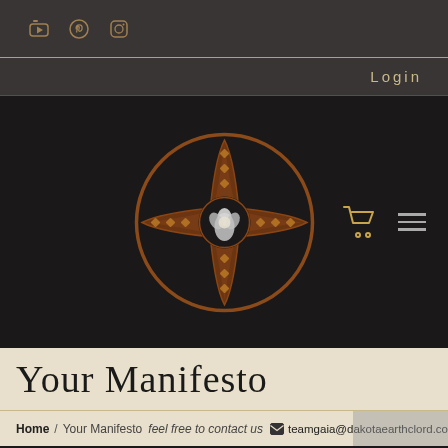Social icons (YouTube, Pinterest, Instagram)
Login
[Figure (logo): Celtic cross in a circle with decorative knotwork in copper/bronze color on dark background, with a floral emblem at center. Shopping cart icon and hamburger menu icon to the right.]
Your Manifesto
Home / Your Manifesto  feel free to contact us  teamgaia@dakotaearthclord.com
[Figure (photo): Small circular avatar photo (profile image) at bottom left, partially visible]